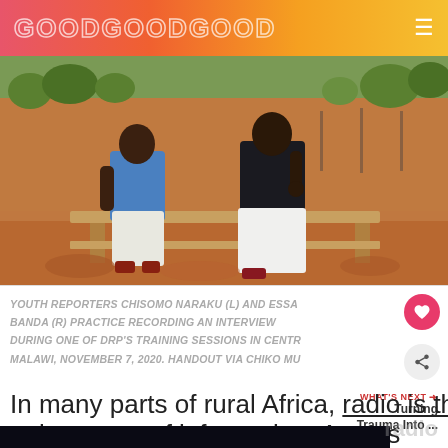GOODGOODGOOD
[Figure (photo): Two youth reporters sitting on a wooden bench outdoors in rural Africa, in conversation. Red soil ground, trees in background. Person on left wears blue shirt and white shorts; person on right wears black shirt and white pants.]
YOUTH REPORTERS CHISOMO NARAKU (L) AND ESSA BANDA (R) PRACTICE RECORDING AN INTERVIEW DURING ONE OF DRP'S TRAINING SESSIONS IN CENTR MALAWI, NOVEMBER 7, 2020. HANDOUT VIA CHIKO MU
WHAT'S NEXT → Turning Trauma Into ...
In many parts of rural Africa, radio is the only source of information. Across the co radio